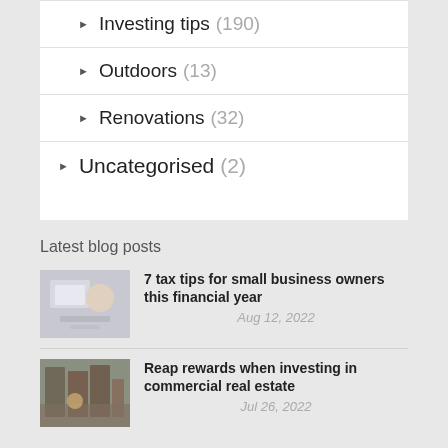Investing tips (190)
Outdoors (13)
Renovations (32)
Uncategorised (2)
Latest blog posts
7 tax tips for small business owners this financial year
Aug 12, 2022
Reap rewards when investing in commercial real estate
Jul 26, 2022